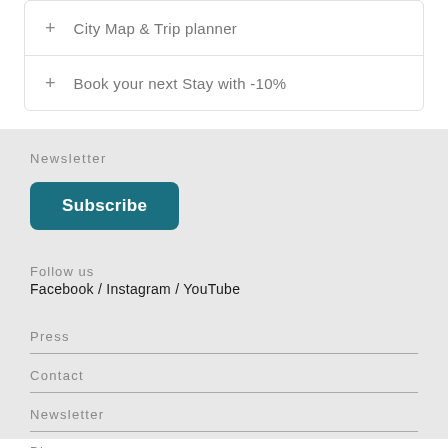+ City Map & Trip planner
+ Book your next Stay with -10%
Newsletter
Subscribe
Follow us
Facebook / Instagram / YouTube
Press
Contact
Newsletter
Blog